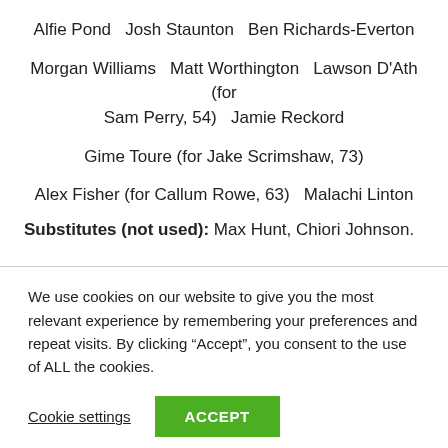Alfie Pond  Josh Staunton  Ben Richards-Everton
Morgan Williams  Matt Worthington  Lawson D'Ath (for Sam Perry, 54)  Jamie Reckord
Gime Toure (for Jake Scrimshaw, 73)
Alex Fisher (for Callum Rowe, 63)  Malachi Linton
Substitutes (not used): Max Hunt, Chiori Johnson.
We use cookies on our website to give you the most relevant experience by remembering your preferences and repeat visits. By clicking “Accept”, you consent to the use of ALL the cookies.
Cookie settings
ACCEPT